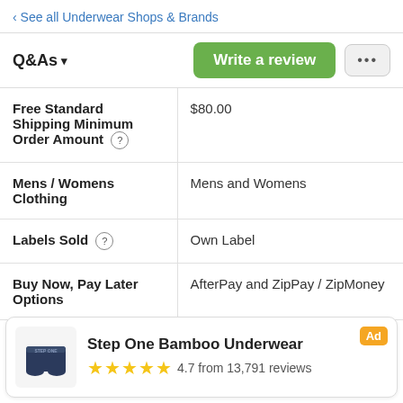‹ See all Underwear Shops & Brands
Q&As ▾    Write a review   ...
|  |  |
| --- | --- |
| Free Standard Shipping Minimum Order Amount (?) | $80.00 |
| Mens / Womens Clothing | Mens and Womens |
| Labels Sold (?) | Own Label |
| Buy Now, Pay Later Options | AfterPay and ZipPay / ZipMoney |
[Figure (other): Ad banner for Step One Bamboo Underwear showing navy blue boxer briefs, 4.7 stars from 13,791 reviews, with Ad label]